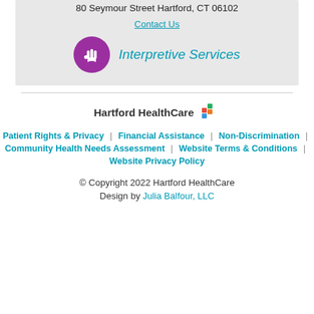80 Seymour Street Hartford, CT 06102
Contact Us
[Figure (illustration): Purple circle icon with ASL/sign language hand symbol]
Interpretive Services
[Figure (logo): Hartford HealthCare logo with colorful cross icon]
Patient Rights & Privacy | Financial Assistance | Non-Discrimination | Community Health Needs Assessment | Website Terms & Conditions | Website Privacy Policy
© Copyright 2022 Hartford HealthCare
Design by Julia Balfour, LLC